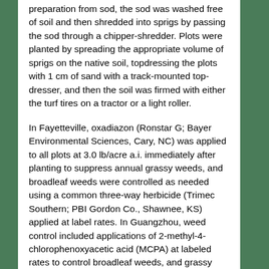preparation from sod, the sod was washed free of soil and then shredded into sprigs by passing the sod through a chipper-shredder. Plots were planted by spreading the appropriate volume of sprigs on the native soil, topdressing the plots with 1 cm of sand with a track-mounted top-dresser, and then the soil was firmed with either the turf tires on a tractor or a light roller.
In Fayetteville, oxadiazon (Ronstar G; Bayer Environmental Sciences, Cary, NC) was applied to all plots at 3.0 lb/acre a.i. immediately after planting to suppress annual grassy weeds, and broadleaf weeds were controlled as needed using a common three-way herbicide (Trimec Southern; PBI Gordon Co., Shawnee, KS) applied at label rates. In Guangzhou, weed control included applications of 2-methyl-4-chlorophenoxyacetic acid (MCPA) at labeled rates to control broadleaf weeds, and grassy weeds were manually removed. Plots were